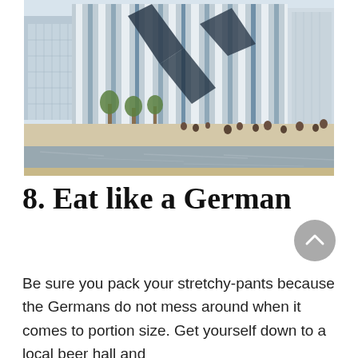[Figure (photo): Modern glass and white-panel office building with angular architectural features reflecting sunlight, trees in foreground, and a water feature/canal in the immediate foreground with people sitting along the waterfront.]
8. Eat like a German
Be sure you pack your stretchy-pants because the Germans do not mess around when it comes to portion size. Get yourself down to a local beer hall and